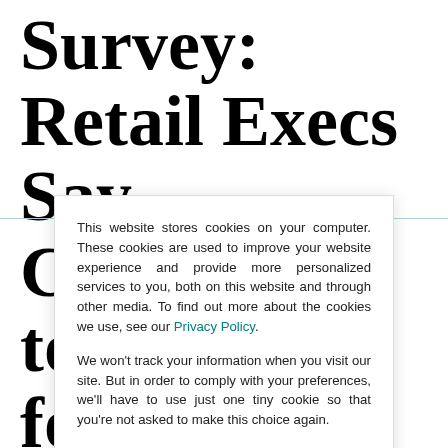Survey: Retail Execs Say Consumers to Pay Price for Supply
This website stores cookies on your computer. These cookies are used to improve your website experience and provide more personalized services to you, both on this website and through other media. To find out more about the cookies we use, see our Privacy Policy.

We won't track your information when you visit our site. But in order to comply with your preferences, we'll have to use just one tiny cookie so that you're not asked to make this choice again.